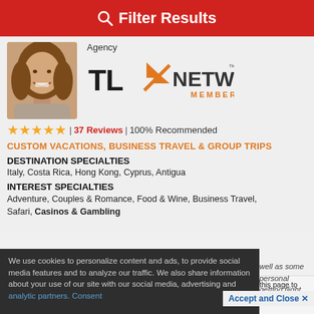Filter Results
Agency
[Figure (logo): TL Network Member logo with orange arrow graphic]
[Figure (photo): Profile photo of a woman with long brown hair, smiling]
★★★★★ | 37 Reviews | 100% Recommended
CUSTOM VACATIONS, BUSINESS TRAVEL & GROUP TRIPS
DESTINATION SPECIALTIES
Italy, Costa Rica, Hong Kong, Cyprus, Antigua
INTEREST SPECIALTIES
Adventure, Couples & Romance, Food & Wine, Business Travel, Safari, Casinos & Gambling
We use cookies to personalize content and ads, to provide social media features and to analyze our traffic. We also share information about your use of our site with our social media, advertising and analytic partners. Consent
well as some personal
getting flight options
Accept and Close ✕
Your browser settings do not allow cross-site tracking for advertising. Click on this page to allow AdRoll to use cross-site tracking to tailor ads to you. Learn more or opt out of this AdRoll tracking by clicking here. This message only appears once.